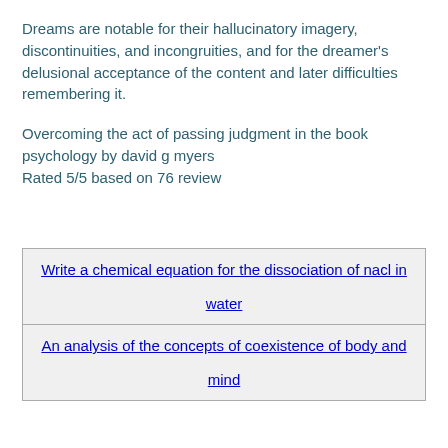Dreams are notable for their hallucinatory imagery, discontinuities, and incongruities, and for the dreamer's delusional acceptance of the content and later difficulties remembering it.
Overcoming the act of passing judgment in the book psychology by david g myers
Rated 5/5 based on 76 review
| Write a chemical equation for the dissociation of nacl in water |
| An analysis of the concepts of coexistence of body and mind |